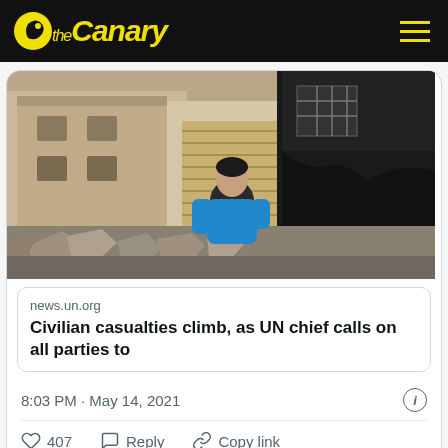the Canary
[Figure (photo): A boy in a blue t-shirt looking at destroyed buildings and rubble in a war-damaged street]
news.un.org
Civilian casualties climb, as UN chief calls on all parties to
8:03 PM · May 14, 2021
407  Reply  Copy link
Read 392 replies